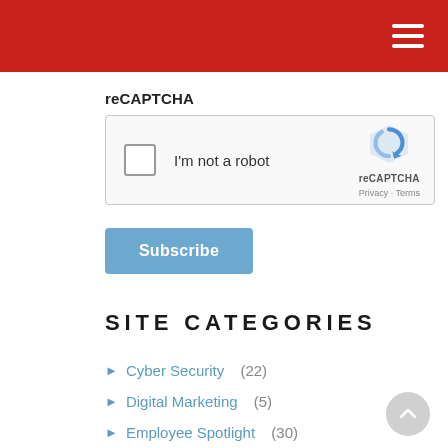Navigation header bar (red)
reCAPTCHA
[Figure (screenshot): reCAPTCHA widget box with checkbox labeled I'm not a robot and reCAPTCHA logo with Privacy and Terms links]
Subscribe
SITE CATEGORIES
Cyber Security (22)
Digital Marketing (5)
Employee Spotlight (30)
Holidays (21)